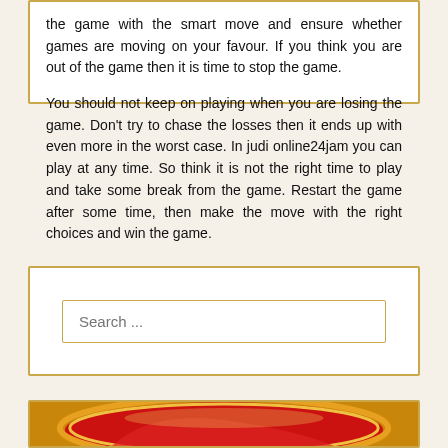the game with the smart move and ensure whether games are moving on your favour. If you think you are out of the game then it is time to stop the game.

You should not keep on playing when you are losing the game. Don't try to chase the losses then it ends up with even more in the worst case. In judi online24jam you can play at any time. So think it is not the right time to play and take some break from the game. Restart the game after some time, then make the move with the right choices and win the game.
Search ...
[Figure (illustration): Partial view of a decorative image with gold and red colors at the bottom of the page]